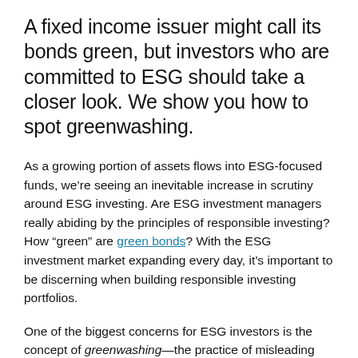A fixed income issuer might call its bonds green, but investors who are committed to ESG should take a closer look. We show you how to spot greenwashing.
As a growing portion of assets flows into ESG-focused funds, we're seeing an inevitable increase in scrutiny around ESG investing. Are ESG investment managers really abiding by the principles of responsible investing? How “green” are green bonds? With the ESG investment market expanding every day, it’s important to be discerning when building responsible investing portfolios.
One of the biggest concerns for ESG investors is the concept of greenwashing—the practice of misleading